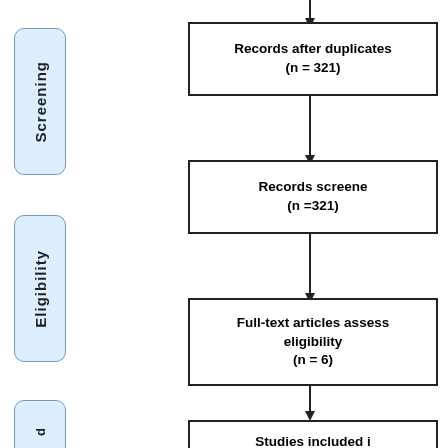[Figure (flowchart): PRISMA flowchart showing screening, eligibility, and included stages. Left side has vertical label boxes: Screening, Eligibility, and partially visible Included. Right side shows flow boxes: Records after duplicates (n=321), Records screened (n=321), Full-text articles assessed for eligibility (n=6), Studies included (partially visible).]